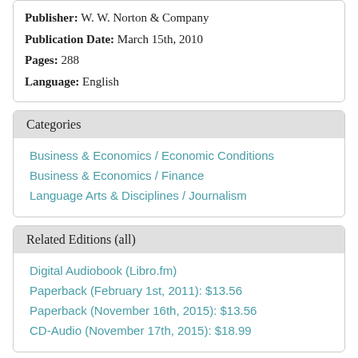Publisher: W. W. Norton & Company
Publication Date: March 15th, 2010
Pages: 288
Language: English
Categories
Business & Economics / Economic Conditions
Business & Economics / Finance
Language Arts & Disciplines / Journalism
Related Editions (all)
Digital Audiobook (Libro.fm)
Paperback (February 1st, 2011): $13.56
Paperback (November 16th, 2015): $13.56
CD-Audio (November 17th, 2015): $18.99